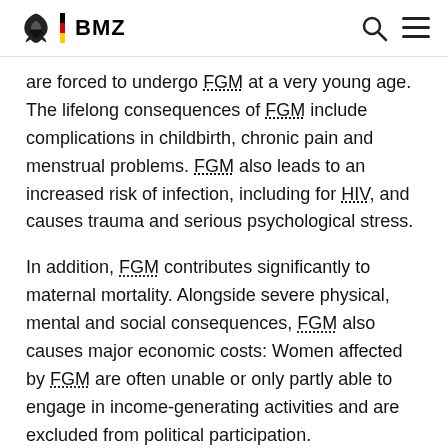BMZ
are forced to undergo FGM at a very young age. The lifelong consequences of FGM include complications in childbirth, chronic pain and menstrual problems. FGM also leads to an increased risk of infection, including for HIV, and causes trauma and serious psychological stress.
In addition, FGM contributes significantly to maternal mortality. Alongside severe physical, mental and social consequences, FGM also causes major economic costs: Women affected by FGM are often unable or only partly able to engage in income-generating activities and are excluded from political participation.
WHO estimates that health complications in the 27